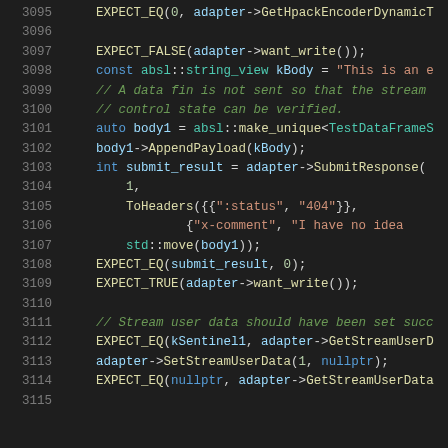[Figure (screenshot): Source code viewer showing C++ test code lines 3095–3115 with syntax highlighting on a dark background. Keywords in blue, strings in orange, comments in green, method calls in yellow/teal.]